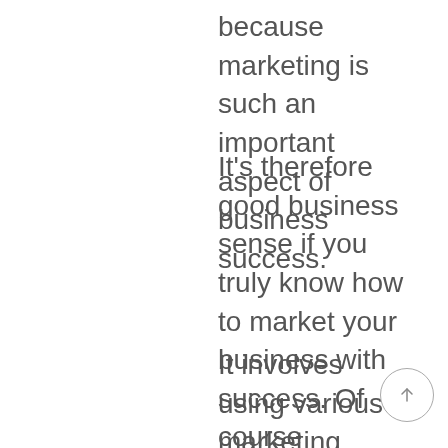because marketing is such an important aspect of business success.
It's therefore good business sense if you truly know how to market your business with success. Of course marketing your business involves going where your prospects and customers congregate.
It involves using various marketing strategies and tactics to get your prospects and customers to notice you.